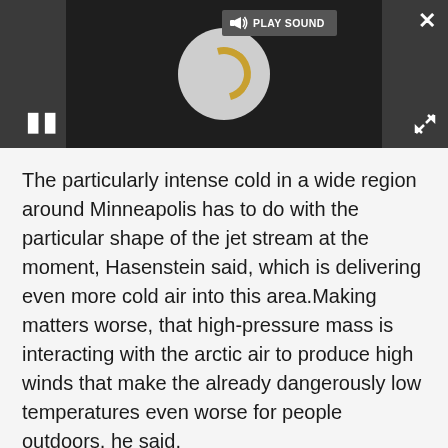[Figure (screenshot): Video/audio media player with dark background, loading spinner circle, pause button, play sound label, close button (X), and expand button. The player shows a loading state with a gray circle and golden arc spinner.]
The particularly intense cold in a wide region around Minneapolis has to do with the particular shape of the jet stream at the moment, Hasenstein said, which is delivering even more cold air into this area.Making matters worse, that high-pressure mass is interacting with the arctic air to produce high winds that make the already dangerously low temperatures even worse for people outdoors, he said.
Wind chills as low as minus 60 F (minus 51 C) have already been reported in North Dakota, according to